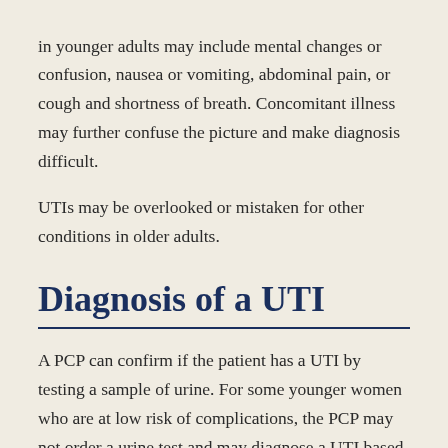in younger adults may include mental changes or confusion, nausea or vomiting, abdominal pain, or cough and shortness of breath. Concomitant illness may further confuse the picture and make diagnosis difficult.
UTIs may be overlooked or mistaken for other conditions in older adults.
Diagnosis of a UTI
A PCP can confirm if the patient has a UTI by testing a sample of urine. For some younger women who are at low risk of complications, the PCP may not order a urine test and may diagnose a UTI based on the